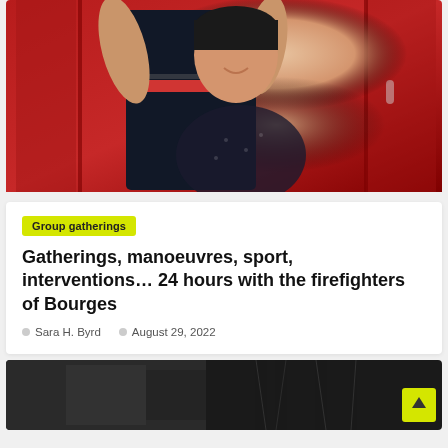[Figure (photo): Woman smiling and holding up a dark navy firefighter uniform with a red stripe, standing in front of red fire truck or equipment background]
Group gatherings
Gatherings, manoeuvres, sport, interventions… 24 hours with the firefighters of Bourges
Sara H. Byrd   August 29, 2022
[Figure (photo): Dark black and white photograph, partially visible, appears to be an outdoor scene]